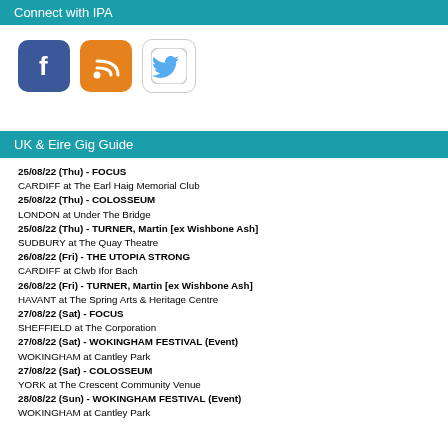Connect with IPA
[Figure (illustration): Three social media icon buttons: Facebook (blue), RSS feed (orange), and Twitter (white/blue bird)]
UK & Eire Gig Guide
25/08/22 (Thu) - FOCUS
CARDIFF at The Earl Haig Memorial Club
25/08/22 (Thu) - COLOSSEUM
LONDON at Under The Bridge
25/08/22 (Thu) - TURNER, Martin [ex Wishbone Ash]
SUDBURY at The Quay Theatre
26/08/22 (Fri) - THE UTOPIA STRONG
CARDIFF at Clwb Ifor Bach
26/08/22 (Fri) - TURNER, Martin [ex Wishbone Ash]
HAVANT at The Spring Arts & Heritage Centre
27/08/22 (Sat) - FOCUS
SHEFFIELD at The Corporation
27/08/22 (Sat) - WOKINGHAM FESTIVAL (Event)
WOKINGHAM at Cantley Park
27/08/22 (Sat) - COLOSSEUM
YORK at The Crescent Community Venue
28/08/22 (Sun) - WOKINGHAM FESTIVAL (Event)
WOKINGHAM at Cantley Park